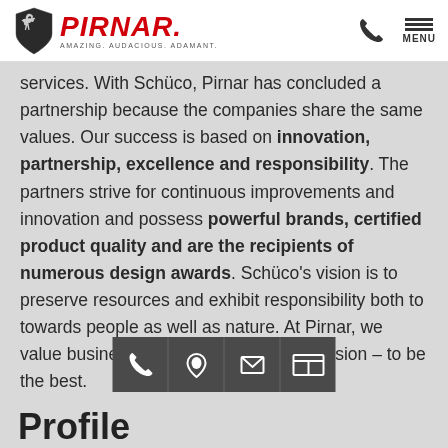PIRNAR — AMAZING. AUDACIOUS. ADAMANT.
services. With Schüco, Pirnar has concluded a partnership because the companies share the same values. Our success is based on innovation, partnership, excellence and responsibility. The partners strive for continuous improvements and innovation and possess powerful brands, certified product quality and are the recipients of numerous design awards. Schüco's vision is to preserve resources and exhibit responsibility both to towards people as well as nature. At Pirnar, we value business partners that share our vision – to be the best.
Profile